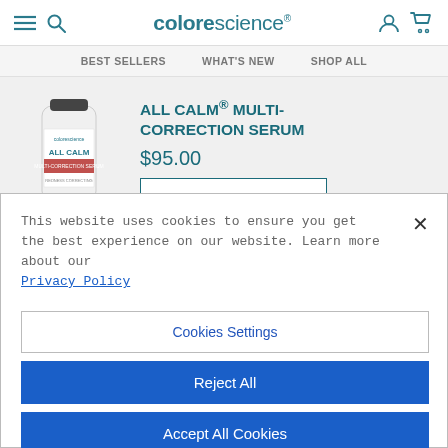colorescience
BEST SELLERS   WHAT'S NEW   SHOP ALL
[Figure (photo): Colorescience All Calm Multi-Correction Serum product bottle, white cylindrical container with teal and red label]
ALL CALM® MULTI-CORRECTION SERUM
$95.00
This website uses cookies to ensure you get the best experience on our website. Learn more about our Privacy Policy
Cookies Settings
Reject All
Accept All Cookies